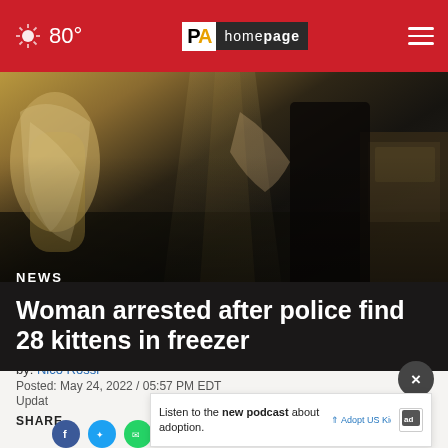80° | PA homepage
[Figure (photo): Dark, dimly lit interior scene with golden statue or figure on the left side and what appears to be a doorway with light rays. Dark floor visible.]
NEWS
Woman arrested after police find 28 kittens in freezer
by: Nico Rossi
Posted: May 24, 2022 / 05:57 PM EDT
Updated:
Listen to the new podcast about adoption.
SHARE